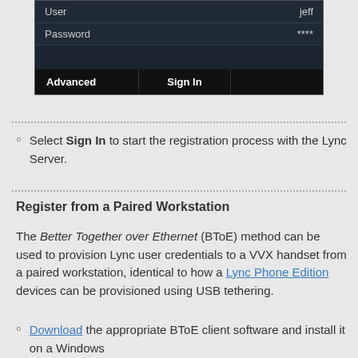[Figure (screenshot): Dark-themed phone UI screen showing User field with value 'jeff', Password field with '****', and buttons for Advanced, Sign In at the bottom]
Select Sign In to start the registration process with the Lync Server.
Register from a Paired Workstation
The Better Together over Ethernet (BToE) method can be used to provision Lync user credentials to a VVX handset from a paired workstation, identical to how a Lync Phone Edition devices can be provisioned using USB tethering.
Download the appropriate BToE client software and install it on a Windows